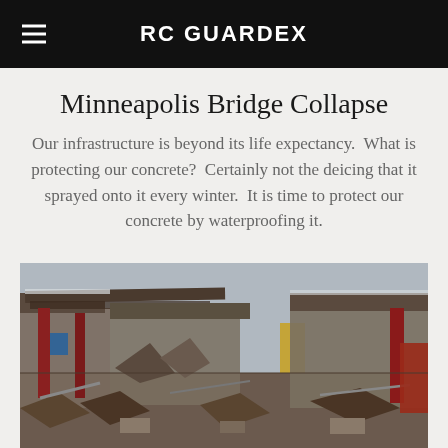RC GUARDEX
Minneapolis Bridge Collapse
Our infrastructure is beyond its life expectancy.  What is protecting our concrete?  Certainly not the deicing that it sprayed onto it every winter.  It is time to protect our concrete by waterproofing it.
[Figure (photo): Photograph of collapsed bridge showing twisted steel, debris, and destroyed structural elements from the Minneapolis bridge collapse.]